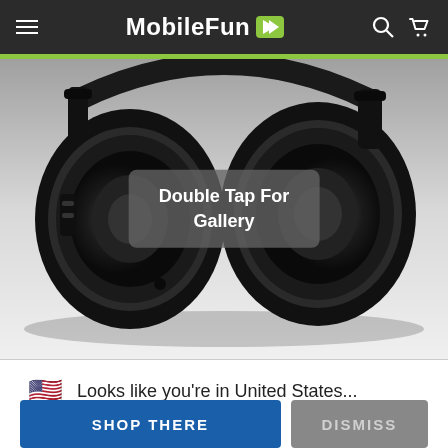MobileFun
[Figure (photo): Close-up photo of black over-ear headphones on white background with a semi-transparent grey overlay button reading 'Double Tap For Gallery']
🇺🇸 Looks like you're in United States...
SHOP THERE
DISMISS